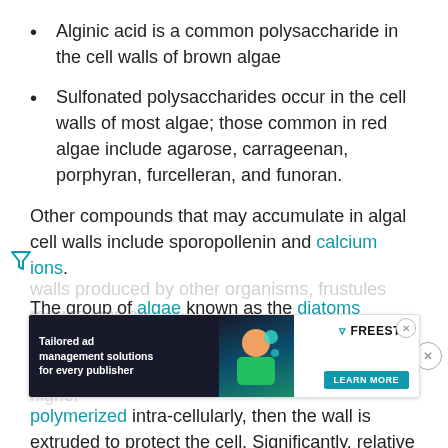Alginic acid is a common polysaccharide in the cell walls of brown algae
Sulfonated polysaccharides occur in the cell walls of most algae; those common in red algae include agarose, carrageenan, porphyran, furcelleran, and funoran.
Other compounds that may accumulate in algal cell walls include sporopollenin and calcium ions.
The group of algae known as the diatoms synthesize their cell walls (also known as frustules or valves) from silicic acid (specifically orthosilicic acid, H4SiO4). The acid is polymerized intra-cellularly, then the wall is extruded to protect the cell. Significantly, relative to the organic cell walls produced by other organisms, frustules require less en... potentially a major saving on the cellular energy budget (Raven 1983), and possibly an explanation for higher...
[Figure (other): Advertisement overlay: Freesta ad with text 'Tailored ad management solutions for every publisher' and 'LEARN MORE' button]